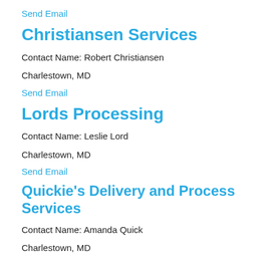Send Email
Christiansen Services
Contact Name: Robert Christiansen
Charlestown, MD
Send Email
Lords Processing
Contact Name: Leslie Lord
Charlestown, MD
Send Email
Quickie's Delivery and Process Services
Contact Name: Amanda Quick
Charlestown, MD